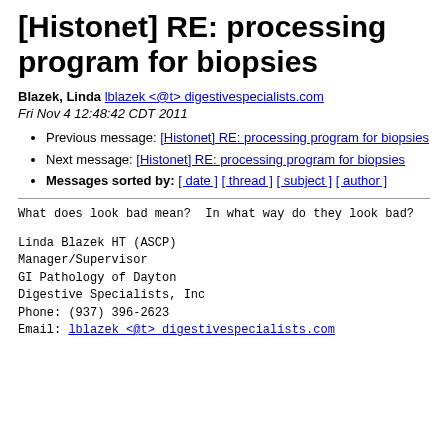[Histonet] RE: processing program for biopsies
Blazek, Linda lblazek <@t> digestivespecialists.com
Fri Nov 4 12:48:42 CDT 2011
Previous message: [Histonet] RE: processing program for biopsies
Next message: [Histonet] RE: processing program for biopsies
Messages sorted by: [ date ] [ thread ] [ subject ] [ author ]
What does look bad mean?  In what way do they look bad?
Linda Blazek HT (ASCP)
Manager/Supervisor
GI Pathology of Dayton
Digestive Specialists, Inc
Phone: (937) 396-2623
Email: lblazek <@t> digestivespecialists.com